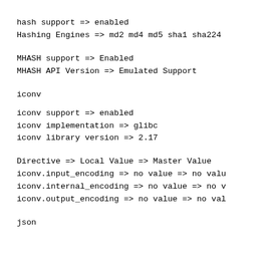hash support => enabled
Hashing Engines => md2 md4 md5 sha1 sha224
MHASH support => Enabled
MHASH API Version => Emulated Support
iconv
iconv support => enabled
iconv implementation => glibc
iconv library version => 2.17
Directive => Local Value => Master Value
iconv.input_encoding => no value => no valu
iconv.internal_encoding => no value => no v
iconv.output_encoding => no value => no val
json